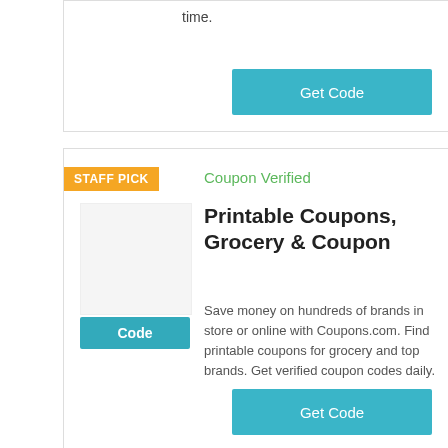time.
[Figure (other): Get Code button (teal/cyan colored button)]
[Figure (other): Staff Pick badge (orange) with Coupon Verified label and coupon listing card with thumbnail, Code badge, title, description, and Get Code button]
Coupon Verified
Printable Coupons, Grocery & Coupon
Save money on hundreds of brands in store or online with Coupons.com. Find printable coupons for grocery and top brands. Get verified coupon codes daily.